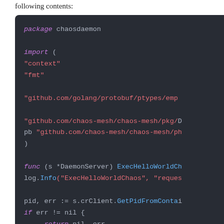following contents:
[Figure (screenshot): Dark-themed code editor screenshot showing Go source code for package chaosdaemon with imports and a function ExecHelloWorldChaos]